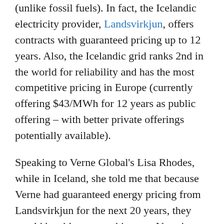(unlike fossil fuels). In fact, the Icelandic electricity provider, Landsvirkjun, offers contracts with guaranteed pricing up to 12 years. Also, the Icelandic grid ranks 2nd in the world for reliability and has the most competitive pricing in Europe (currently offering $43/MWh for 12 years as public offering – with better private offerings potentially available).
Speaking to Verne Global's Lisa Rhodes, while in Iceland, she told me that because Verne had guaranteed energy pricing from Landsvirkjun for the next 20 years, they would be able to pass this on to Verne's hosting customers and, in fact, she claimed that hosting in the Verne facility would cost 50-60% of the cost of hosting in the East coast of the US.
On the connectivity front, Colt announced that they were putting a Colt POP in the Verne facility, so it is connected directly into the Colt backbone.